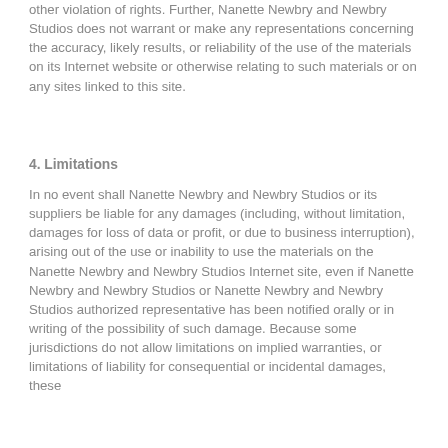other violation of rights. Further, Nanette Newbry and Newbry Studios does not warrant or make any representations concerning the accuracy, likely results, or reliability of the use of the materials on its Internet website or otherwise relating to such materials or on any sites linked to this site.
4. Limitations
In no event shall Nanette Newbry and Newbry Studios or its suppliers be liable for any damages (including, without limitation, damages for loss of data or profit, or due to business interruption), arising out of the use or inability to use the materials on the Nanette Newbry and Newbry Studios Internet site, even if Nanette Newbry and Newbry Studios or Nanette Newbry and Newbry Studios authorized representative has been notified orally or in writing of the possibility of such damage. Because some jurisdictions do not allow limitations on implied warranties, or limitations of liability for consequential or incidental damages, these